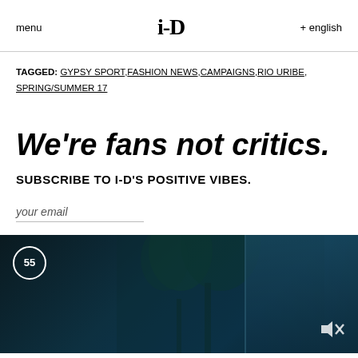menu   i-D   + english
TAGGED: GYPSY SPORT, FASHION NEWS, CAMPAIGNS, RIO URIBE, SPRING/SUMMER 17
We're fans not critics.
SUBSCRIBE TO i-D'S POSITIVE VIBES.
your email
[Figure (photo): Dark teal video thumbnail showing plants and a window, with a circular timer badge showing '55' and a mute icon in the bottom right corner.]